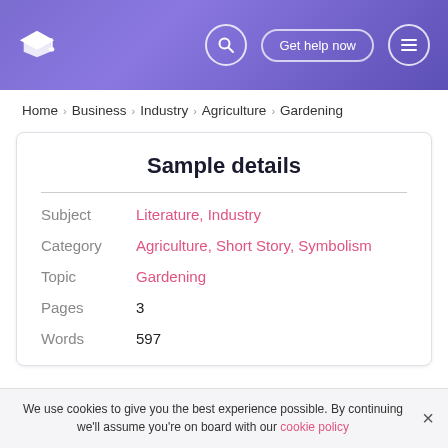Header with graduation cap logo, search icon, Get help now button, menu icon
Home > Business > Industry > Agriculture > Gardening
Sample details
| Field | Value |
| --- | --- |
| Subject | Literature, Industry |
| Category | Agriculture, Short Story, Symbolism |
| Topic | Gardening |
| Pages | 3 |
| Words | 597 |
We use cookies to give you the best experience possible. By continuing we'll assume you're on board with our cookie policy